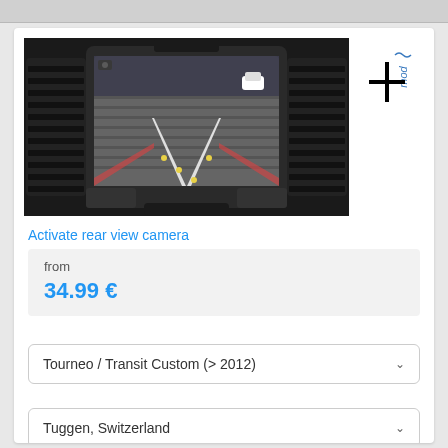[Figure (photo): Car dashboard infotainment screen showing rear view camera feed of a brick parking area, with 'Convers+mod' logo to the right]
Activate rear view camera
from
34.99 €
Tourneo / Transit Custom (> 2012)
Tuggen, Switzerland